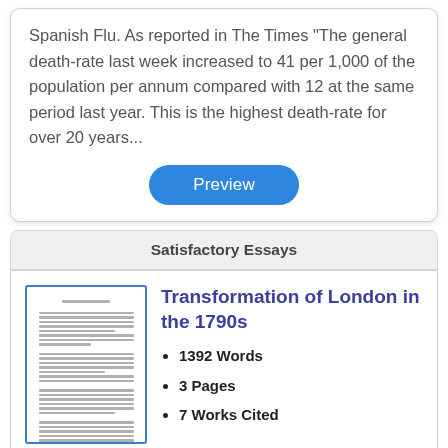Spanish Flu. As reported in The Times "The general death-rate last week increased to 41 per 1,000 of the population per annum compared with 12 at the same period last year. This is the highest death-rate for over 20 years...
Preview
Satisfactory Essays
[Figure (illustration): Thumbnail preview image of an essay document with lines of text]
Transformation of London in the 1790s
1392 Words
3 Pages
7 Works Cited
Transformation of London in the 1790s...